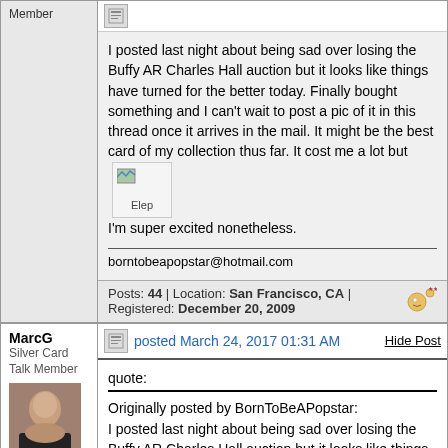Member
I posted last night about being sad over losing the Buffy AR Charles Hall auction but it looks like things have turned for the better today. Finally bought something and I can't wait to post a pic of it in this thread once it arrives in the mail. It might be the best card of my collection thus far. It cost me a lot but I'm super excited nonetheless.
borntobeapopstar@hotmail.com
Posts: 44 | Location: San Francisco, CA | Registered: December 20, 2009
MarcG
Silver Card Talk Member
posted March 24, 2017 01:31 AM
Hide Post
quote:
Originally posted by BornToBeAPopstar:
I posted last night about being sad over losing the Buffy AR Charles Hall auction but it looks like things have turned for the better today. Finally bought something and I can't wait to post a pic of it in this thread once it arrives in the mail. It might be the best card of my collection thus far. It cost me a lot but I'm super excited nonetheless.